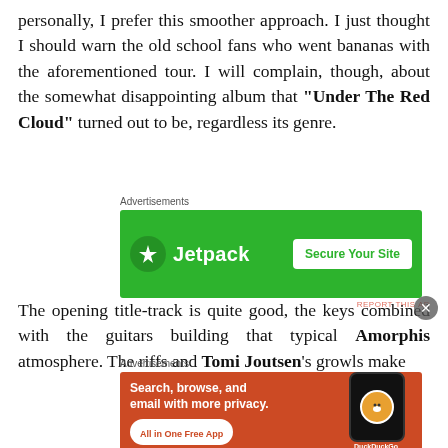personally, I prefer this smoother approach. I just thought I should warn the old school fans who went bananas with the aforementioned tour. I will complain, though, about the somewhat disappointing album that "Under The Red Cloud" turned out to be, regardless its genre.
[Figure (screenshot): Jetpack advertisement banner with green background, Jetpack logo and 'Secure Your Site' button]
The opening title-track is quite good, the keys combined with the guitars building that typical Amorphis atmosphere. The riffs and Tomi Joutsen's growls make
[Figure (screenshot): DuckDuckGo advertisement banner with orange/red background, 'Search, browse, and email with more privacy. All in One Free App' text and phone illustration]